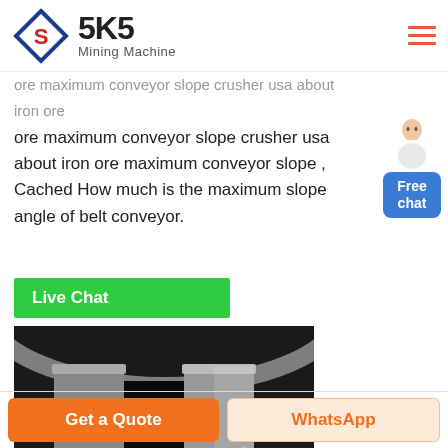SKS Mining Machine
ore maximum conveyor slope crusher usa about iron ore maximum conveyor slope , Cached How much is the maximum slope angle of belt conveyor.
[Figure (other): Free chat widget with a person icon and blue chat button]
[Figure (other): Live Chat green button]
[Figure (photo): Black and white photo of industrial machinery, possibly a crusher or conveyor structure with bolted metal components]
[Figure (other): Bottom bar with Get a Quote and WhatsApp buttons]